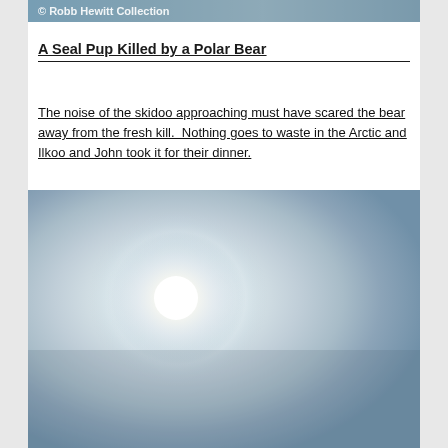[Figure (photo): Partial banner/strip at top showing a polar bear or arctic scene with text overlay '© Robb Hewitt Collection']
A Seal Pup Killed by a Polar Bear
The noise of the skidoo approaching must have scared the bear away from the fresh kill.  Nothing goes to waste in the Arctic and Ilkoo and John took it for their dinner.
[Figure (photo): Bright Arctic sky photograph showing the sun with a halo/glow effect against a hazy blue-grey sky]